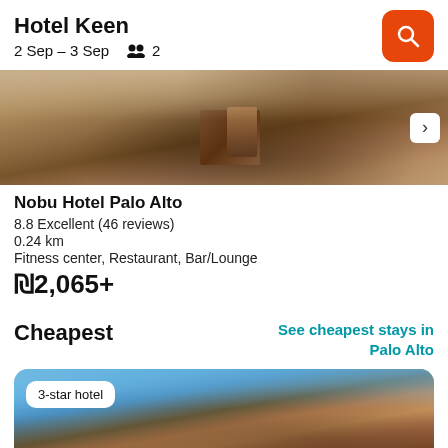Hotel Keen
2 Sep – 3 Sep   2
[Figure (photo): Hotel room interior photo showing a wooden desk and chair on hardwood floors]
Nobu Hotel Palo Alto
8.8 Excellent (46 reviews)
0.24 km
Fitness center, Restaurant, Bar/Lounge
₪2,065+
Cheapest
See cheapest stays in Palo Alto
[Figure (photo): Exterior photo of a 3-star hotel building with orange/terracotta roof, white columns, and trees in background under blue sky. Badge reads: 3-star hotel]